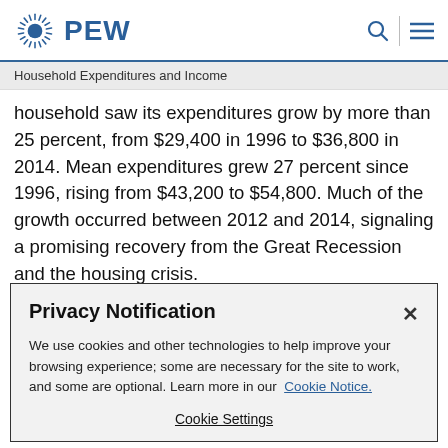PEW
Household Expenditures and Income
household saw its expenditures grow by more than 25 percent, from $29,400 in 1996 to $36,800 in 2014. Mean expenditures grew 27 percent since 1996, rising from $43,200 to $54,800. Much of the growth occurred between 2012 and 2014, signaling a promising recovery from the Great Recession and the housing crisis.
Privacy Notification
We use cookies and other technologies to help improve your browsing experience; some are necessary for the site to work, and some are optional. Learn more in our Cookie Notice.
Cookie Settings